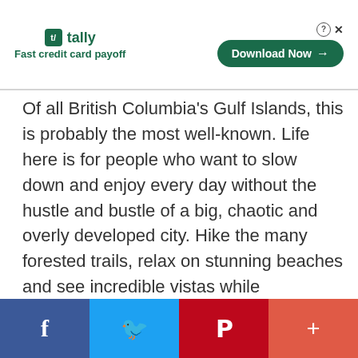[Figure (other): Tally app advertisement banner with logo, tagline 'Fast credit card payoff', and a green 'Download Now' button with arrow]
Of all British Columbia's Gulf Islands, this is probably the most well-known. Life here is for people who want to slow down and enjoy every day without the hustle and bustle of a big, chaotic and overly developed city. Hike the many forested trails, relax on stunning beaches and see incredible vistas while swimming, cycling or kayaking.
Facebook | Twitter | Pinterest | More